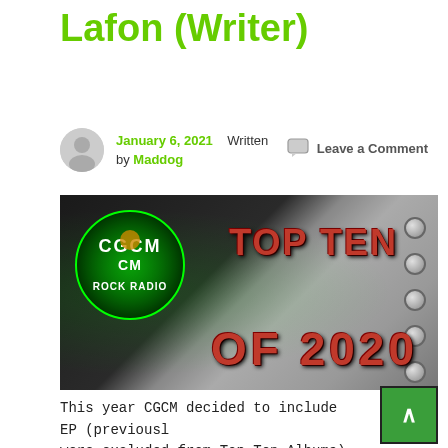Lafon (Writer)
January 6, 2021   Written by Maddog     Leave a Comment
[Figure (photo): CGCM Rock Radio Top Ten of 2020 banner image with logo and metallic riveted background]
This year CGCM decided to include EP (previously were excluded from Top Ten Albums). Live albu re-records were still disqualified, new music only for